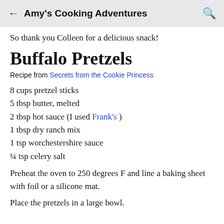Amy's Cooking Adventures
So thank you Colleen for a delicious snack!
Buffalo Pretzels
Recipe from Secrets from the Cookie Princess
8 cups pretzel sticks
5 tbsp butter, melted
2 tbsp hot sauce (I used Frank's )
1 tbsp dry ranch mix
1 tsp worchestershire sauce
¼ tsp celery salt
Preheat the oven to 250 degrees F and line a baking sheet with foil or a silicone mat.
Place the pretzels in a large bowl.